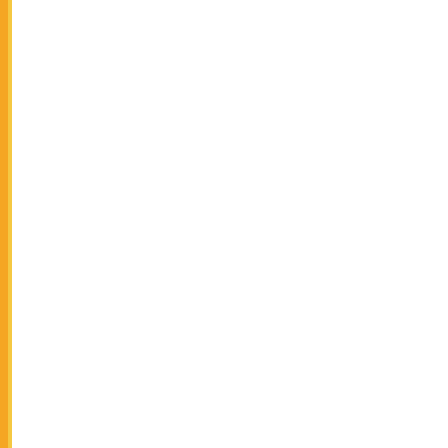| No. | Date | Subject |
| --- | --- | --- |
| 524. | 21/06/2017 | CET(PG) - ... MCOM(Business Science & E... |
| 525. | 21/06/2017 | CET(PG) - ... System) |
| 526. | 21/06/2017 | CET(PG) - ... |
| 527. | 21/06/2017 | CET(PG) - ... NanoTechno... |
| 528. | 21/06/2017 | CET(PG) - ... |
| 529. | 21/06/2017 | CET(PG) - ... |
| 530. | 21/06/2017 | CET(PG) - ... |
| 531. | 21/06/2017 | CET(PG) - ... |
| 532. | 21/06/2017 | CET(PG) - ... |
| 533. | 08/06/2017 | Re-examina... |
| 534. | 07/06/2017 | Answer Key... |
| 535. | 07/06/2017 | Question Bo... |
| 536. | 07/06/2017 | Question Bo... |
| 537. | 07/06/2017 | Question Bo... |
| 538. | 07/06/2017 | Question Bo... |